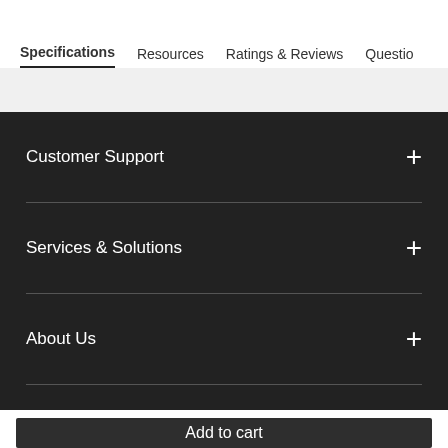Specifications | Resources | Ratings & Reviews | Questions
Customer Support
Services & Solutions
About Us
Add to cart